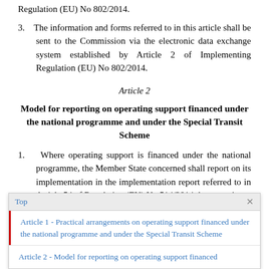Regulation (EU) No 802/2014.
3.   The information and forms referred to in this article shall be sent to the Commission via the electronic data exchange system established by Article 2 of Implementing Regulation (EU) No 802/2014.
Article 2
Model for reporting on operating support financed under the national programme and under the Special Transit Scheme
1.   Where operating support is financed under the national programme, the Member State concerned shall report on its implementation in the implementation report referred to in Article 54 of Regulation (EU) No 514/2014 drawn up in
[Figure (screenshot): Popup navigation box with header 'Top' and close button, listing article links: 'Article 1 - Practical arrangements on operating support financed under the national programme and under the Special Transit Scheme' and 'Article 2 - Model for reporting on operating support financed']